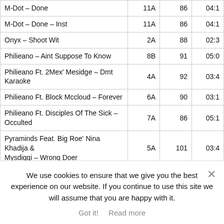| Track | Key | BPM | Time |
| --- | --- | --- | --- |
| M-Dot – Done | 11A | 86 | 04:1 |
| M-Dot – Done – Inst | 11A | 86 | 04:1 |
| Onyx – Shoot Wit | 2A | 88 | 02:3 |
| Philieano – Aint Suppose To Know | 8B | 91 | 05:0 |
| Philieano Ft. 2Mex' Mesidge – Dmt Karaoke | 4A | 92 | 03:4 |
| Philieano Ft. Block Mccloud – Forever | 6A | 90 | 03:1 |
| Philieano Ft. Disciples Of The Sick – Occulted | 7A | 86 | 05:1 |
| Pyraminds Feat. Big Roe' Nina Khadija & Mysdiggi – Wrong Doer | 5A | 101 | 03:4 |
| Pyraminds Feat. Big Roe' Nina Khadija & Mysdiggi – Wrong Doer (Inst) | 5A | 101 | 03:4 |
| Rob Gonzales – For You | 4A | 90 | 02:3 |
| Rob Gonzales – Mean Somethin' | 9A | 137 | 03:4 |
We use cookies to ensure that we give you the best experience on our website. If you continue to use this site we will assume that you are happy with it.